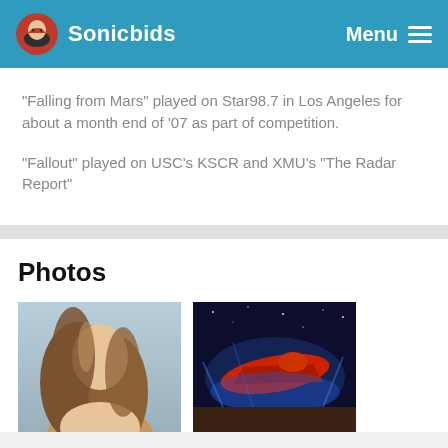Sonicbids
"Falling from Mars" played on Star98.7 in Los Angeles for about a month end of '07 as part of competition.
"Fallout" played on USC's KSCR and XMU's "The Radar Report"
Photos
[Figure (photo): Portrait photo of a woman with long wavy brown/blonde hair against a light blue background]
[Figure (photo): Nighttime photo of an aircraft or spacecraft sculpture lit with blue and red lights]